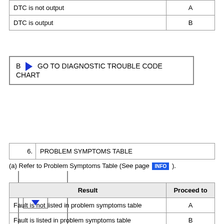|  |  |
| --- | --- |
| DTC is not output | A |
| DTC is output | B |
B ▶ GO TO DIAGNOSTIC TROUBLE CODE CHART
[Figure (flowchart): A connector box with letter A and a downward blue arrow]
|  |  |
| --- | --- |
| 6. | PROBLEM SYMPTOMS TABLE |
(a) Refer to Problem Symptoms Table (See page INFO ).
| Result | Proceed to |
| --- | --- |
| Fault is not listed in problem symptoms table | A |
| Fault is listed in problem symptoms table | B |